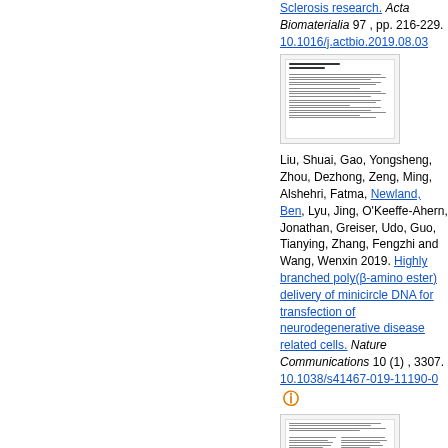Sclerosis research. Acta Biomaterialia 97 , pp. 216-229. 10.1016/j.actbio.2019.08.03
[Figure (screenshot): Thumbnail image of a document page]
Liu, Shuai, Gao, Yongsheng, Zhou, Dezhong, Zeng, Ming, Alshehri, Fatma, Newland, Ben, Lyu, Jing, O'Keeffe-Ahern, Jonathan, Greiser, Udo, Guo, Tianying, Zhang, Fengzhi and Wang, Wenxin 2019. Highly branched poly(β-amino ester) delivery of minicircle DNA for transfection of neurodegenerative disease related cells. Nature Communications 10 (1) , 3307. 10.1038/s41467-019-11190-0
[Figure (screenshot): Thumbnail image of a second document page]